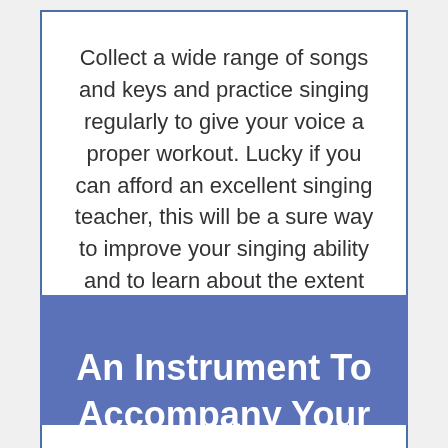Collect a wide range of songs and keys and practice singing regularly to give your voice a proper workout. Lucky if you can afford an excellent singing teacher, this will be a sure way to improve your singing ability and to learn about the extent of your skill.
An Instrument To Accompany Your Voice